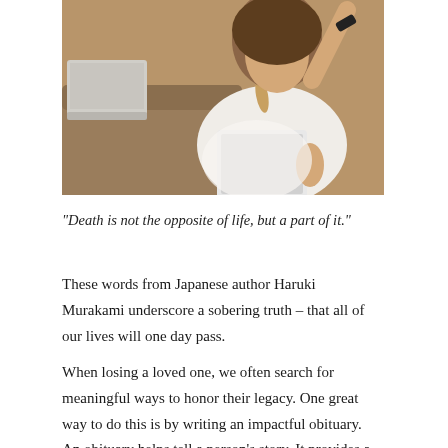[Figure (photo): Photo of a woman in a white top and bead necklace holding a tablet, sitting on a couch with a laptop nearby]
“Death is not the opposite of life, but a part of it.”
These words from Japanese author Haruki Murakami underscore a sobering truth – that all of our lives will one day pass.
When losing a loved one, we often search for meaningful ways to honor their legacy. One great way to do this is by writing an impactful obituary. An obituary helps tell a person's story. It provides a reminder of the importance of life, while helping us pay